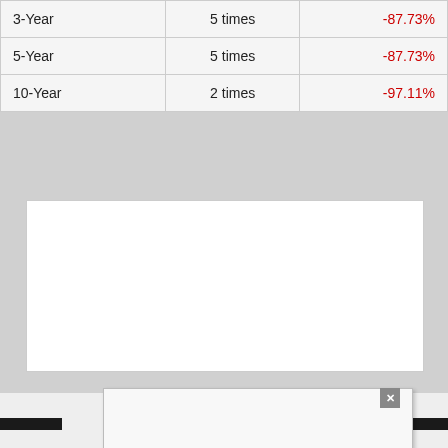|  |  |  |
| --- | --- | --- |
| 3-Year | 5 times | -87.73% |
| 5-Year | 5 times | -87.73% |
| 10-Year | 2 times | -97.11% |
[Figure (other): Empty white chart area with border, placeholder for a financial chart]